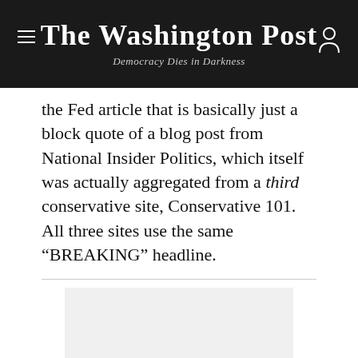The Washington Post — Democracy Dies in Darkness
the Fed article that is basically just a block quote of a blog post from National Insider Politics, which itself was actually aggregated from a third conservative site, Conservative 101. All three sites use the same “BREAKING” headline.
[Figure (other): Light gray advertisement placeholder box below a horizontal divider]